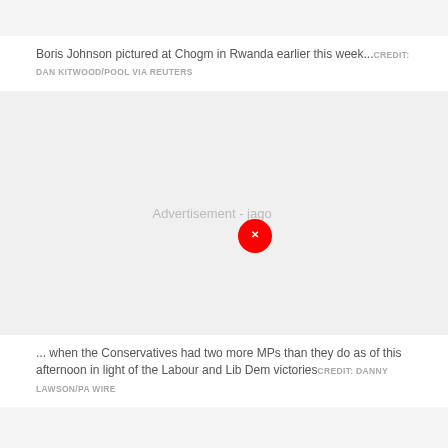Boris Johnson pictured at Chogm in Rwanda earlier this week... CREDIT: DAN KITWOOD/POOL VIA REUTERS
[Figure (other): Grey advertisement placeholder zone with text 'Advertisement - jago' and a red circular close/dismiss button with an 'x' marker]
... when the Conservatives had two more MPs than they do as of this afternoon in light of the Labour and Lib Dem victories CREDIT: DANNY LAWSON/PA WIRE